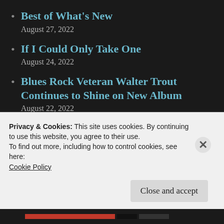Best of What's New
August 27, 2022
If I Could Only Take One
August 24, 2022
Blues Rock Veteran Walter Trout Continues to Shine on New Album
August 22, 2022
The Sunday Six
August 21, 2022
Best of What's Now
Privacy & Cookies: This site uses cookies. By continuing to use this website, you agree to their use.
To find out more, including how to control cookies, see here:
Cookie Policy